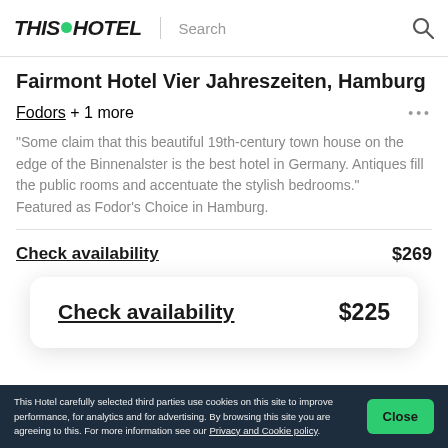THIS HOTEL | Search
Fairmont Hotel Vier Jahreszeiten, Hamburg
Fodors + 1 more
“Some claim that this beautiful 19th-century town house on the edge of the Binnenalster is the best hotel in Germany. Antiques fill the public rooms and accentuate the stylish bedrooms.” Featured as Fodor’s Choice in Hamburg.
Check availability $269
Check availability $225
This Hotel carefully selected third parties use cookies on this site to improve performance, for analytics and for advertising. By browsing this site you are agreeing to this. For more information see our Privacy and Cookie policy.